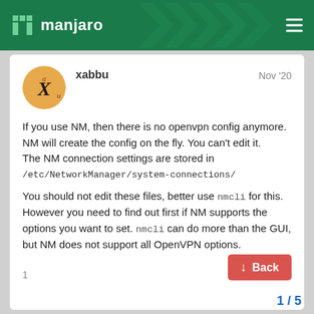manjaro
xabbu   Nov '20

If you use NM, then there is no openvpn config anymore. NM will create the config on the fly. You can't edit it.
The NM connection settings are stored in /etc/NetworkManager/system-connections/

You should not edit these files, better use nmcli for this. However you need to find out first if NM supports the options you want to set. nmcli can do more than the GUI, but NM does not support all OpenVPN options.
1 / 5